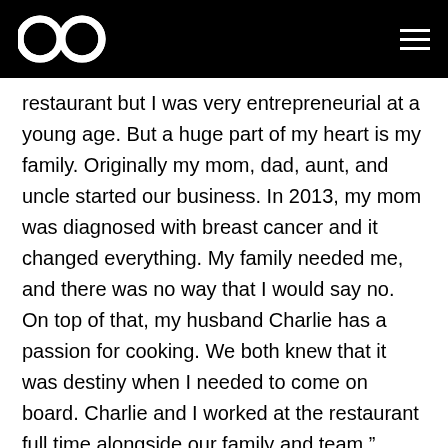[Logo] [Navigation menu]
restaurant but I was very entrepreneurial at a young age. But a huge part of my heart is my family. Originally my mom, dad, aunt, and uncle started our business. In 2013, my mom was diagnosed with breast cancer and it changed everything. My family needed me, and there was no way that I would say no. On top of that, my husband Charlie has a passion for cooking. We both knew that it was destiny when I needed to come on board. Charlie and I worked at the restaurant full time alongside our family and team,” shared Kissa in an interview with VoyageLA.